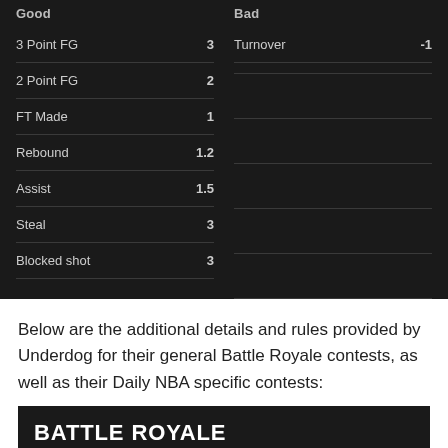| Good |  | Bad |  |
| --- | --- | --- | --- |
| 3 Point FG | 3 | Turnover | -1 |
| 2 Point FG | 2 |  |  |
| FT Made | 1 |  |  |
| Rebound | 1.2 |  |  |
| Assist | 1.5 |  |  |
| Steal | 3 |  |  |
| Blocked shot | 3 |  |  |
Below are the additional details and rules provided by Underdog for their general Battle Royale contests, as well as their Daily NBA specific contests:
BATTLE ROYALE
DESCRIPTION